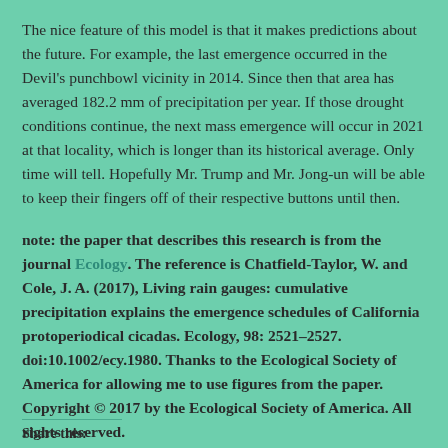The nice feature of this model is that it makes predictions about the future. For example, the last emergence occurred in the Devil's punchbowl vicinity in 2014. Since then that area has averaged 182.2 mm of precipitation per year. If those drought conditions continue, the next mass emergence will occur in 2021 at that locality, which is longer than its historical average. Only time will tell. Hopefully Mr. Trump and Mr. Jong-un will be able to keep their fingers off of their respective buttons until then.
note: the paper that describes this research is from the journal Ecology. The reference is Chatfield-Taylor, W. and Cole, J. A. (2017), Living rain gauges: cumulative precipitation explains the emergence schedules of California protoperiodical cicadas. Ecology, 98: 2521–2527. doi:10.1002/ecy.1980. Thanks to the Ecological Society of America for allowing me to use figures from the paper. Copyright © 2017 by the Ecological Society of America. All rights reserved.
Share this: